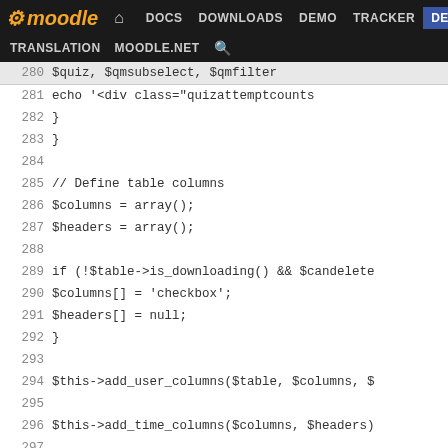[Figure (screenshot): Moodle developer portal navigation bar with logo, nav links (DOCS, DOWNLOADS, DEMO, TRACKER, DEV highlighted in blue), and secondary links (TRANSLATION, MOODLE.NET, search icon)]
Code viewer showing PHP source lines 280-305 from a Moodle quiz report file, including table column definitions and detailed marks logic.